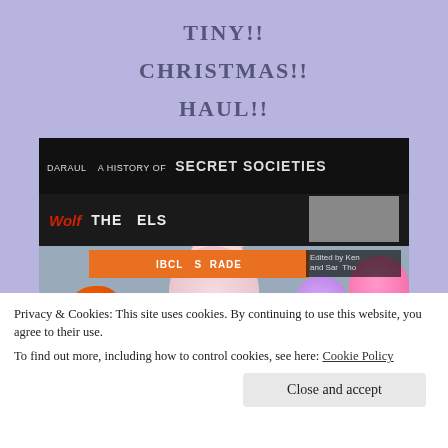TINY!!

CHRISTMAS!!

HAUL!!
[Figure (photo): Photo of small toy figurines (bear, orange creature, pink blobs, purple and pink figures) placed in front of book spines including 'Daraul A History of Secret Societies' and 'Wolf The Rebels', with an orange label strip and a cookie/consent banner overlay at the bottom.]
Privacy & Cookies: This site uses cookies. By continuing to use this website, you agree to their use.
To find out more, including how to control cookies, see here: Cookie Policy
Close and accept